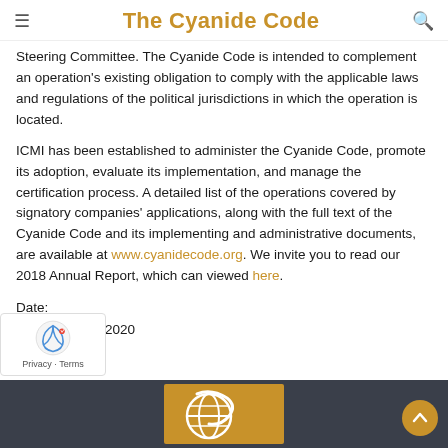The Cyanide Code
Steering Committee. The Cyanide Code is intended to complement an operation's existing obligation to comply with the applicable laws and regulations of the political jurisdictions in which the operation is located.
ICMI has been established to administer the Cyanide Code, promote its adoption, evaluate its implementation, and manage the certification process. A detailed list of the operations covered by signatory companies' applications, along with the full text of the Cyanide Code and its implementing and administrative documents, are available at www.cyanidecode.org. We invite you to read our 2018 Annual Report, which can viewed here.
Date:
Friday, April 3, 2020
[Figure (logo): Footer with dark background containing The Cyanide Code logo (gold globe/ribbon icon) and a scroll-to-top button. A reCAPTCHA badge appears at lower left.]